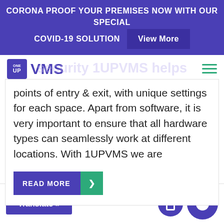CORONA PROOF YOUR PREMISES NOW WITH OUR SPECIAL COVID-19 SOLUTION View More
[Figure (logo): OneUp VMS logo with navigation bar and hamburger menu]
security 1UPVMS helps companies to easily deploy, manage and monitor multiple points of entry & exit, with unique settings for each space. Apart from software, it is very important to ensure that all hardware types can seamlessly work at different locations. With 1UPVMS we are
READ MORE ❯
Translate »